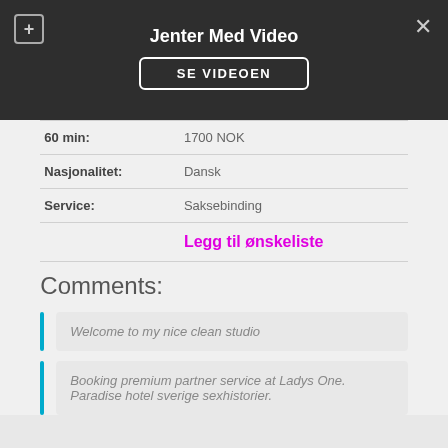Jenter Med Video
SE VIDEOEN
| 60 min: | 1700 NOK |
| Nasjonalitet: | Dansk |
| Service: | Saksebinding |
Legg til ønskeliste
Comments:
Welcome to my nice clean studio
Booking premium partner service at Ladys One. Paradise hotel sverige sexhistorier.